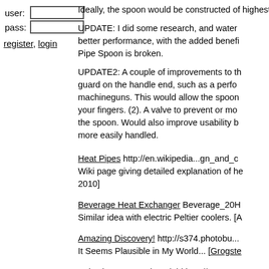[Figure (screenshot): Login form with user and pass fields]
Ideally, the spoon would be constructed of highest thermal conductivity. That would m
UPDATE: I did some research, and water better performance, with the added benefit Pipe Spoon is broken.
UPDATE2: A couple of improvements to the guard on the handle end, such as a perfo machineguns. This would allow the spoon your fingers. (2). A valve to prevent or moc the spoon. Would also improve usability by more easily handled.
Heat Pipes http://en.wikipedia...gn_and_co Wiki page giving detailed explanation of he 2010]
Beverage Heat Exchanger Beverage_20H Similar idea with electric Peltier coolers. [A
Amazing Discovery! http://s374.photobu... It Seems Plausible in My World... [Grogste
Selecting a Heat Pipe Fluid http://www.ene